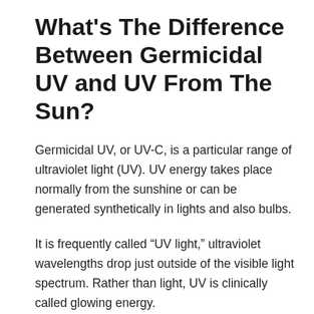What's The Difference Between Germicidal UV and UV From The Sun?
Germicidal UV, or UV-C, is a particular range of ultraviolet light (UV). UV energy takes place normally from the sunshine or can be generated synthetically in lights and also bulbs.
It is frequently called “UV light,” ultraviolet wavelengths drop just outside of the visible light spectrum. Rather than light, UV is clinically called glowing energy.
Therefore, you won’t any see light generated from UV